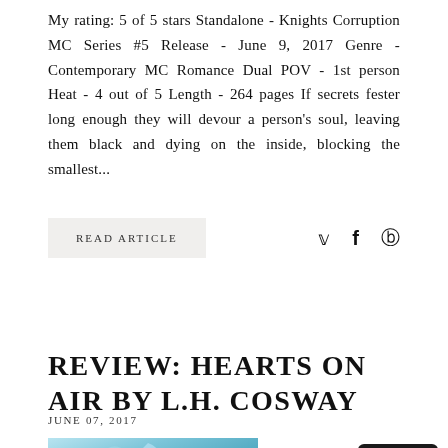My rating: 5 of 5 stars Standalone - Knights Corruption MC Series #5 Release - June 9, 2017 Genre - Contemporary MC Romance Dual POV - 1st person Heat - 4 out of 5 Length - 264 pages If secrets fester long enough they will devour a person's soul, leaving them black and dying on the inside, blocking the smallest...
READ ARTICLE
REVIEW: HEARTS ON AIR BY L.H. COSWAY
JUNE 07, 2017
[Figure (photo): Book cover or artistic image with blue/teal color tones showing a silhouette figure with arms raised against an icy or crystalline background]